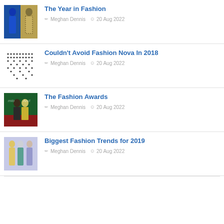[Figure (photo): Fashion runway photo showing two models, one in blue outfit and one in patterned coat]
The Year in Fashion
Meghan Dennis  20 Aug 2022
[Figure (photo): Decorative dot pattern image in black and white]
Couldn’t Avoid Fashion Nova In 2018
Meghan Dennis  20 Aug 2022
[Figure (photo): Fashion Awards photo showing two people in front of a green hedge backdrop on a red carpet]
The Fashion Awards
Meghan Dennis  20 Aug 2022
[Figure (photo): Fashion runway photo showing models in colorful dresses including yellow and teal]
Biggest Fashion Trends for 2019
Meghan Dennis  20 Aug 2022